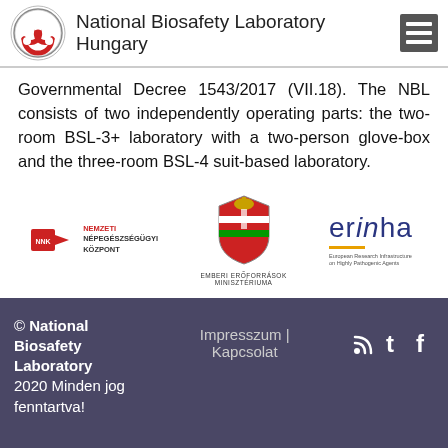National Biosafety Laboratory Hungary
Governmental Decree 1543/2017 (VII.18). The NBL consists of two independently operating parts: the two-room BSL-3+ laboratory with a two-person glove-box and the three-room BSL-4 suit-based laboratory.
[Figure (logo): Nemzeti Népegészségügyi Központ (NNK) logo - red arrow with NNK text]
[Figure (logo): Emberi Erőforrások Minisztériuma - Hungarian coat of arms emblem]
[Figure (logo): erinha - European Research Infrastructure on Highly Pathogenic Agents logo]
© National Biosafety Laboratory 2020 Minden jog fenntartva! | Impresszum | Kapcsolat